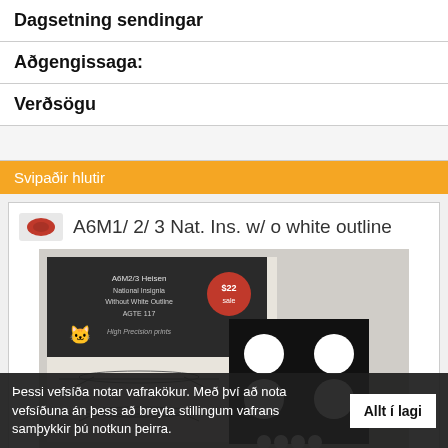Dagsetning sendingar
Aðgengissaga:
Verðsögu
Svipaðir hlutir
A6M1/ 2/ 3 Nat. Ins. w/ o white outline
[Figure (photo): Product image showing A6M2/3 Heisen National Insignia Without White Outline AGTE 117 decal packaging with black panel showing white circles/roundels]
Þessi vefsíða notar vafrakökur. Með því að nota vefsíðuna án þess að breyta stillingum vafrans samþykkir þú notkun þeirra. Allt í lagi